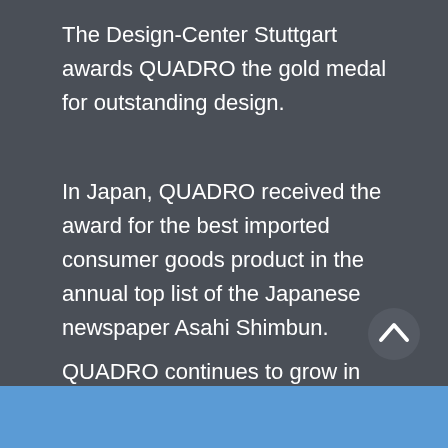The Design-Center Stuttgart awards QUADRO the gold medal for outstanding design.
In Japan, QUADRO received the award for the best imported consumer goods product in the annual top list of the Japanese newspaper Asahi Shimbun.
QUADRO continues to grow in small and large steps: miniQUADRO is developed and worldwide distribution picks up speed.
[Figure (other): Up arrow navigation button (white chevron on dark background)]
[Figure (photo): Blue bar at the bottom of the page with partial image]